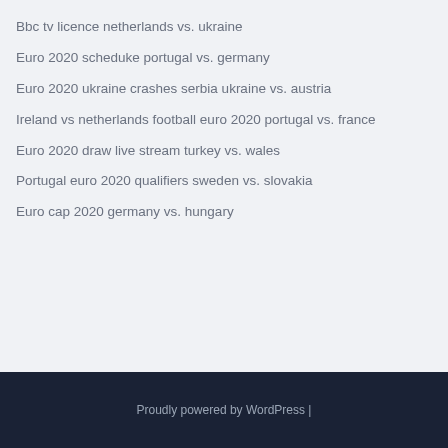Bbc tv licence netherlands vs. ukraine
Euro 2020 scheduke portugal vs. germany
Euro 2020 ukraine crashes serbia ukraine vs. austria
Ireland vs netherlands football euro 2020 portugal vs. france
Euro 2020 draw live stream turkey vs. wales
Portugal euro 2020 qualifiers sweden vs. slovakia
Euro cap 2020 germany vs. hungary
Proudly powered by WordPress |